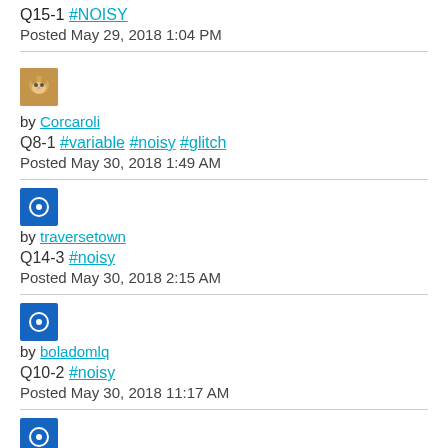Q15-1 #NOISY
Posted May 29, 2018 1:04 PM
[Figure (photo): User avatar - cat photo thumbnail]
by Corcaroli
Q8-1 #variable #noisy #glitch
Posted May 30, 2018 1:49 AM
[Figure (photo): User avatar - blue icon with circle]
by traversetown
Q14-3 #noisy
Posted May 30, 2018 2:15 AM
[Figure (photo): User avatar - blue icon with circle]
by boladomlq
Q10-2 #noisy
Posted May 30, 2018 11:17 AM
[Figure (photo): User avatar - blue icon with circle]